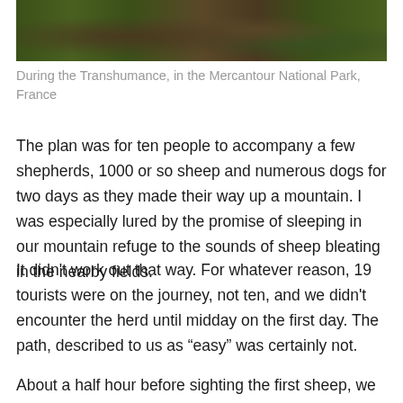[Figure (photo): A photograph taken during the Transhumance in the Mercantour National Park, France, showing sheep or animals on a dirt path with green grass and rocks.]
During the Transhumance, in the Mercantour National Park, France
The plan was for ten people to accompany a few shepherds, 1000 or so sheep and numerous dogs for two days as they made their way up a mountain. I was especially lured by the promise of sleeping in our mountain refuge to the sounds of sheep bleating in the nearby fields.
It didn't work out that way. For whatever reason, 19 tourists were on the journey, not ten, and we didn't encounter the herd until midday on the first day. The path, described to us as “easy” was certainly not.
About a half hour before sighting the first sheep, we could